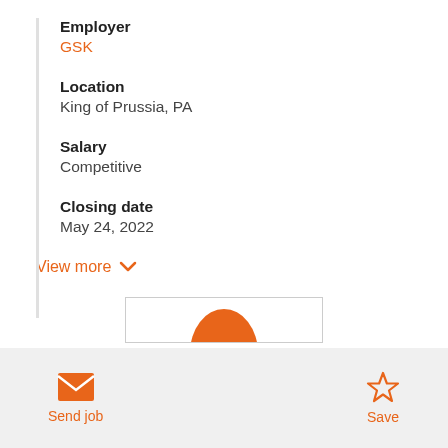Employer
GSK
Location
King of Prussia, PA
Salary
Competitive
Closing date
May 24, 2022
View more
[Figure (screenshot): Partially visible orange circular logo inside a bordered white box at the bottom of the main content area]
Send job
Save